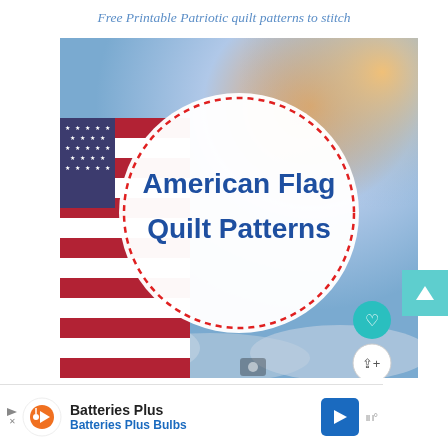Free Printable Patriotic quilt patterns to stitch
[Figure (illustration): American flag photograph as background with a large white circle overlay containing dashed red border. Inside the circle the text 'American Flag Quilt Patterns' in bold blue. Bottom right has teal heart icon button and white share icon button. Right side has teal arrow-up button.]
Batteries Plus
Batteries Plus Bulbs